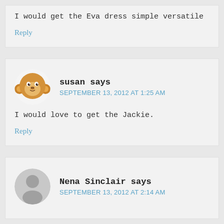I would get the Eva dress simple versatile
Reply
susan says
SEPTEMBER 13, 2012 AT 1:25 AM
I would love to get the Jackie.
Reply
Nena Sinclair says
SEPTEMBER 13, 2012 AT 2:14 AM